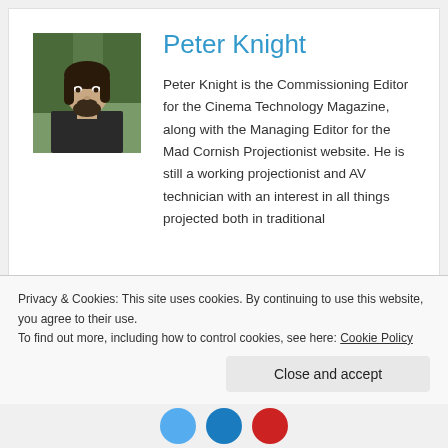[Figure (photo): Headshot photo of Peter Knight, a man with long dark hair and a beard, photographed outdoors.]
Peter Knight
Peter Knight is the Commissioning Editor for the Cinema Technology Magazine, along with the Managing Editor for the Mad Cornish Projectionist website. He is still a working projectionist and AV technician with an interest in all things projected both in traditional cinema and home theatre. Peter...
Privacy & Cookies: This site uses cookies. By continuing to use this website, you agree to their use.
To find out more, including how to control cookies, see here: Cookie Policy
Close and accept